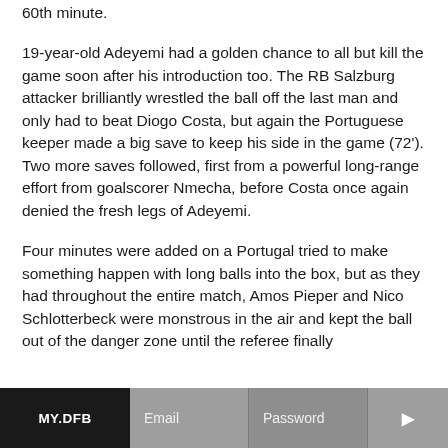60th minute.
19-year-old Adeyemi had a golden chance to all but kill the game soon after his introduction too. The RB Salzburg attacker brilliantly wrestled the ball off the last man and only had to beat Diogo Costa, but again the Portuguese keeper made a big save to keep his side in the game (72'). Two more saves followed, first from a powerful long-range effort from goalscorer Nmecha, before Costa once again denied the fresh legs of Adeyemi.
Four minutes were added on a Portugal tried to make something happen with long balls into the box, but as they had throughout the entire match, Amos Pieper and Nico Schlotterbeck were monstrous in the air and kept the ball out of the danger zone until the referee finally
MY.DFB  Email  Password